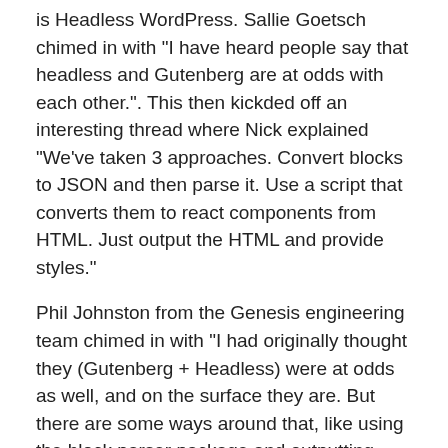is Headless WordPress. Sallie Goetsch chimed in with "I have heard people say that headless and Gutenberg are at odds with each other.". This then kickded off an interesting thread where Nick explained "We've taken 3 approaches. Convert blocks to JSON and then parse it. Use a script that converts them to react components from HTML. Just output the HTML and provide styles."
Phil Johnston from the Genesis engineering team chimed in with "I had originally thought they (Gutenberg + Headless) were at odds as well, and on the surface they are. But there are some ways around that, like using the block parser package and outputting react components for certain blocks, passing the attributes in as props (like @Nick the Geek just mentioned)"
Genesis Custom Blocks Pro doesn't allow for